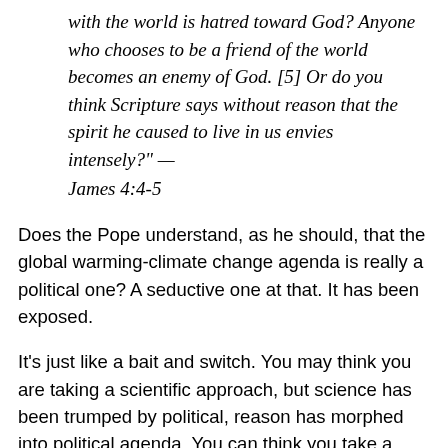with the world is hatred toward God? Anyone who chooses to be a friend of the world becomes an enemy of God. [5] Or do you think Scripture says without reason that the spirit he caused to live in us envies intensely?" — James 4:4-5
Does the Pope understand, as he should, that the global warming-climate change agenda is really a political one? A seductive one at that. It has been exposed.
It's just like a bait and switch. You may think you are taking a scientific approach, but science has been trumped by political, reason has morphed into political agenda. You can think you take a modern Christian perspective only to have the creation replace the Creator.
Just as the bait and switch...